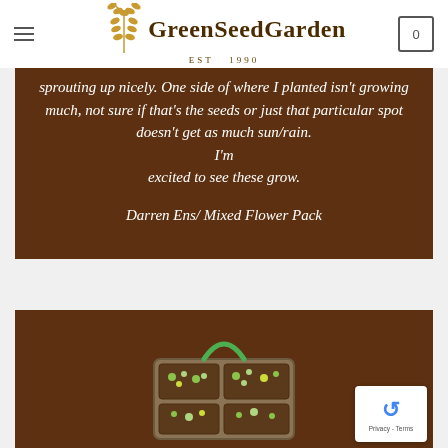GreenSeedGarden EST 1990
sprouting up nicely. One side of where I planted isn't growing much, not sure if that's the seeds or just that particular spot doesn't get as much sun/rain. I'm excited to see these grow.
Darren Ens/ Mixed Flower Pack
[Figure (photo): A photo of seedling trays with small sprouting plants in soil, set against a brown background]